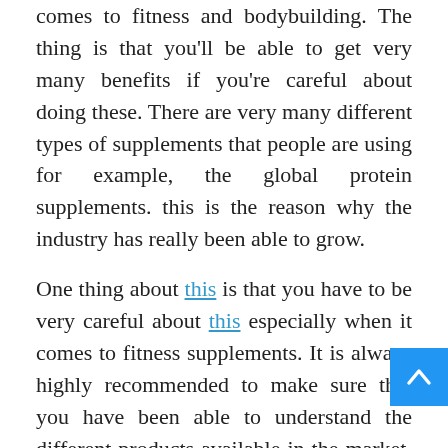topic that has been widely discussed when it comes to fitness and bodybuilding. The thing is that you'll be able to get very many benefits if you're careful about doing these. There are very many different types of supplements that people are using for example, the global protein supplements. this is the reason why the industry has really been able to grow.
One thing about this is that you have to be very careful about this especially when it comes to fitness supplements. It is always highly recommended to make sure that you have been able to understand the different products available in the market. You may find quite a lot of products and although they are quite similar, they may have specific differences. Some of the names in the market are considered to be the top supplements that people can use for bodybuilding or fitness. They are very important